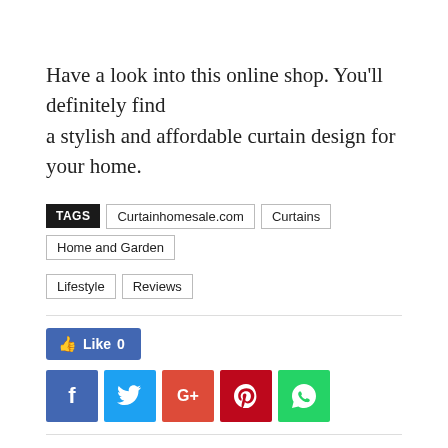Have a look into this online shop. You'll definitely find a stylish and affordable curtain design for your home.
TAGS: Curtainhomesale.com · Curtains · Home and Garden · Lifestyle · Reviews
[Figure (other): Social sharing buttons: Like 0 (Facebook), Facebook, Twitter, Google+, Pinterest, WhatsApp]
Previous article    Next article